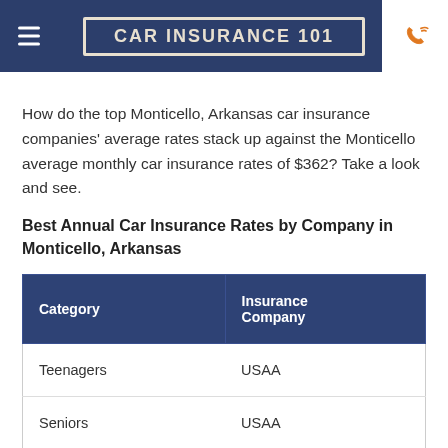CAR INSURANCE 101
How do the top Monticello, Arkansas car insurance companies' average rates stack up against the Monticello average monthly car insurance rates of $362? Take a look and see.
Best Annual Car Insurance Rates by Company in Monticello, Arkansas
| Category | Insurance Company |
| --- | --- |
| Teenagers | USAA |
| Seniors | USAA |